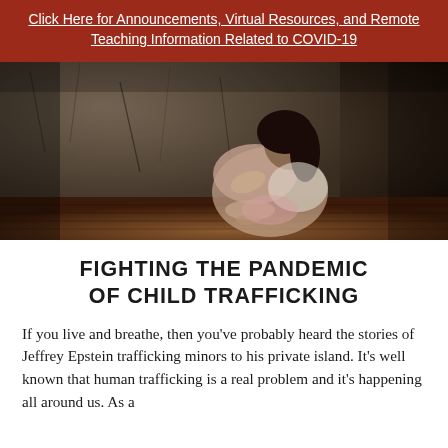Click Here for Announcements, Virtual Resources, and Remote Teaching Information Related to COVID-19
[Figure (photo): A young girl sitting huddled against a concrete wall on a wooden floor, knees drawn to her chest, face hidden, in a dark distressed setting. The image is in muted sepia/dark tones.]
FIGHTING THE PANDEMIC OF CHILD TRAFFICKING
If you live and breathe, then you've probably heard the stories of Jeffrey Epstein trafficking minors to his private island. It's well known that human trafficking is a real problem and it's happening all around us. As a